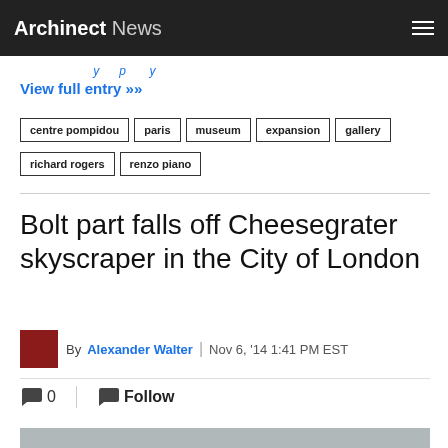Archinect News
View full entry »»
centre pompidou
paris
museum
expansion
gallery
richard rogers
renzo piano
Bolt part falls off Cheesegrater skyscraper in the City of London
By Alexander Walter | Nov 6, '14 1:41 PM EST
💬 0   💬 Follow